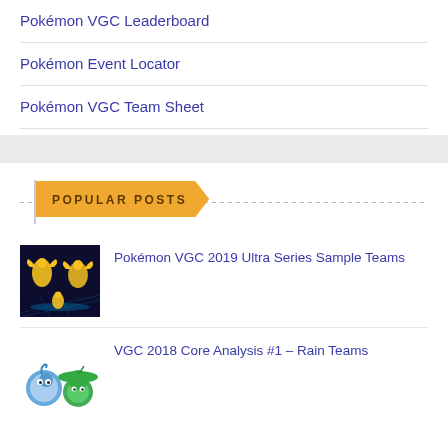Pokémon VGC Leaderboard
Pokémon Event Locator
Pokémon VGC Team Sheet
POPULAR POSTS
Pokémon VGC 2019 Ultra Series Sample Teams
VGC 2018 Core Analysis #1 – Rain Teams